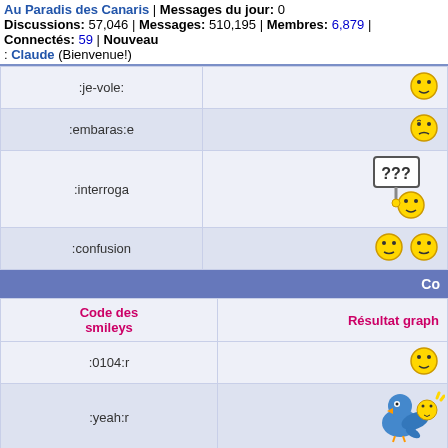Au Paradis des Canaris | Messages du jour: 0 Discussions: 57,046 | Messages: 510,195 | Membres: 6,879 | Connectés: 59 | Nouveau: Claude (Bienvenue!)
| Code des smileys | Résultat graphique |
| --- | --- |
| :je-vole: |  |
| :embaras:e |  |
| :interroga |  |
| :confusion |  |
Co
| Code des smileys | Résultat graphique |
| --- | --- |
| :0104:r |  |
| :yeah:r |  |
| :0035:r |  |
| :0067:r |  |
| :0089:r |  |
| :moqueur2: |  |